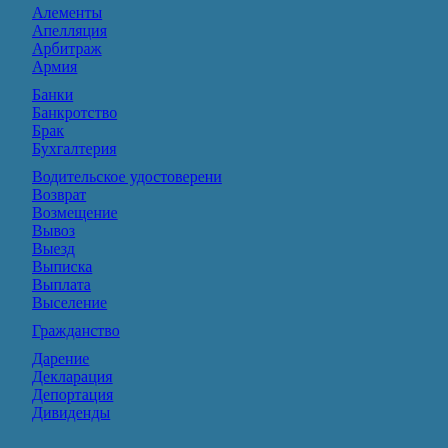Алементы
Апелляция
Арбитраж
Армия
Банки
Банкротство
Брак
Бухгалтерия
Водительское удостоверени
Возврат
Возмещение
Вывоз
Выезд
Выписка
Выплата
Выселение
Гражданство
Дарение
Декларация
Депортация
Дивиденды